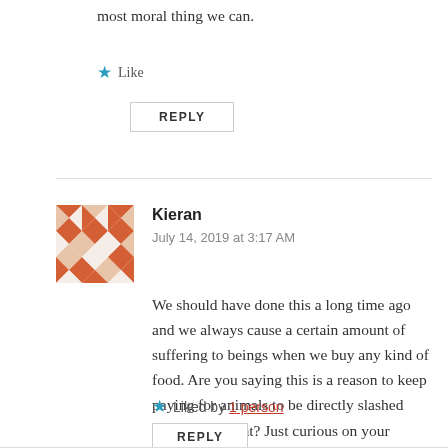most moral thing we can.
Like
REPLY
Kieran
July 14, 2019 at 3:17 AM
We should have done this a long time ago and we always cause a certain amount of suffering to beings when we buy any kind of food. Are you saying this is a reason to keep paying for animals to be directly slashed across the throat? Just curious on your stance.
Liked by 1 person
REPLY